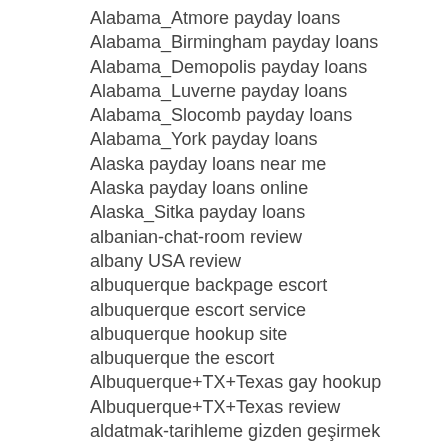Alabama_Atmore payday loans
Alabama_Birmingham payday loans
Alabama_Demopolis payday loans
Alabama_Luverne payday loans
Alabama_Slocomb payday loans
Alabama_York payday loans
Alaska payday loans near me
Alaska payday loans online
Alaska_Sitka payday loans
albanian-chat-room review
albany USA review
albuquerque backpage escort
albuquerque escort service
albuquerque hookup site
albuquerque the escort
Albuquerque+TX+Texas gay hookup
Albuquerque+TX+Texas review
aldatmak-tarihleme gözden geçirmek
alexandria escort